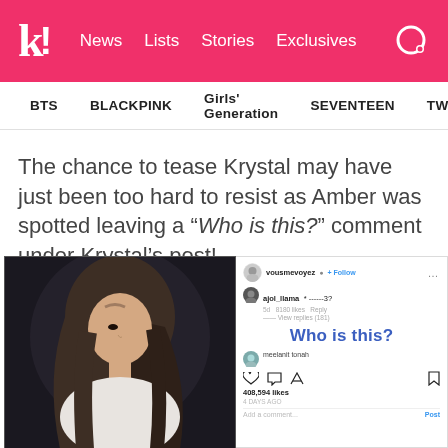k! News  Lists  Stories  Exclusives
BTS  BLACKPINK  Girls' Generation  SEVENTEEN  TWICE
The chance to tease Krystal may have just been too hard to resist as Amber was spotted leaving a “Who is this?” comment under Krystal’s post!
[Figure (screenshot): Left side: photo of a young woman with long brown hair against dark background. Right side: Instagram screenshot showing comment thread with 'Who is this?' comment in blue bold text, 408,594 likes, and other UI elements.]